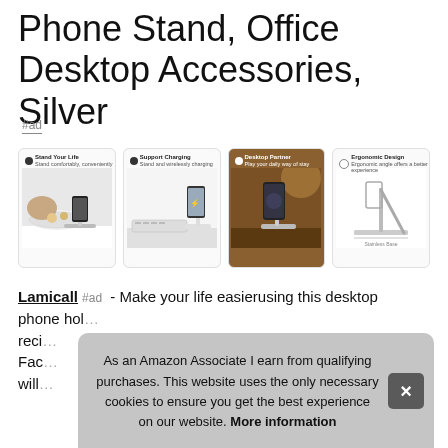Phone Stand, Office Desktop Accessories, Silver
#ad
[Figure (photo): Four product images of a phone stand in different settings: Stand Your Life, Support Charging, Desktop Partner, Ergonomic Design]
Lamicall #ad - Make your life easierusing this desktop phone hold... reci... Fac... will...
As an Amazon Associate I earn from qualifying purchases. This website uses the only necessary cookies to ensure you get the best experience on our website. More information